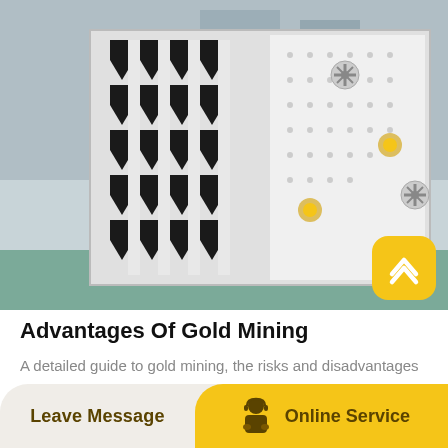[Figure (photo): Industrial gold mining equipment — large black and white mechanical vibrating screen or sorting machinery viewed from a low angle in a factory/plant setting.]
Advantages Of Gold Mining
A detailed guide to gold mining, the risks and disadvantages of gold mining stocks and shares. Why choose BullionVault for gold silver ownership. Advantages And Disadvantages Of Iron Ore Mining
Leave Message | Online Service